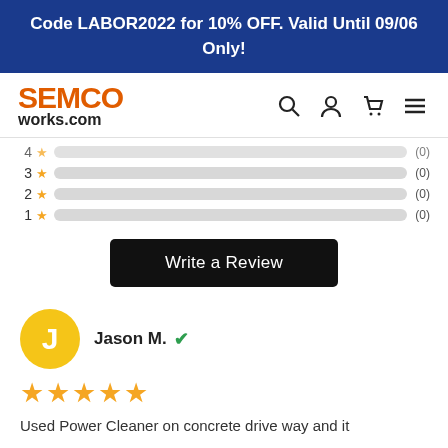Code LABOR2022 for 10% OFF. Valid Until 09/06 Only!
[Figure (logo): SEMCOworks.com logo with navigation icons (search, user, cart, menu)]
[Figure (infographic): Star rating bars: 3 stars (0), 2 stars (0), 1 star (0) with grey progress bars]
Write a Review
[Figure (illustration): Yellow circle avatar with letter J representing reviewer Jason M. with green verified checkmark]
Jason M. ✓
[Figure (infographic): 5 filled orange stars rating]
Used Power Cleaner on concrete drive way and it